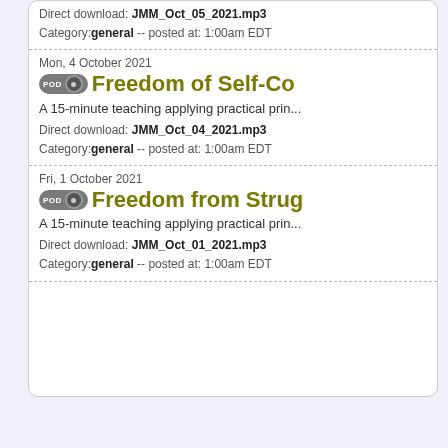Direct download: JMM_Oct_05_2021.mp3
Category:general -- posted at: 1:00am EDT
Mon, 4 October 2021
Freedom of Self-Co...
A 15-minute teaching applying practical prin...
Direct download: JMM_Oct_04_2021.mp3
Category:general -- posted at: 1:00am EDT
Fri, 1 October 2021
Freedom from Strug...
A 15-minute teaching applying practical prin...
Direct download: JMM_Oct_01_2021.mp3
Category:general -- posted at: 1:00am EDT